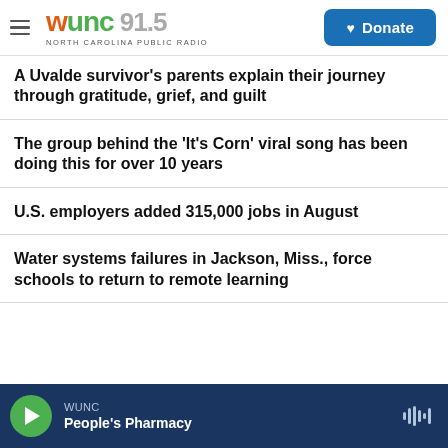WUNC 91.5 NORTH CAROLINA PUBLIC RADIO — Donate
A Uvalde survivor's parents explain their journey through gratitude, grief, and guilt
The group behind the 'It's Corn' viral song has been doing this for over 10 years
U.S. employers added 315,000 jobs in August
Water systems failures in Jackson, Miss., force schools to return to remote learning
WUNC — People's Pharmacy